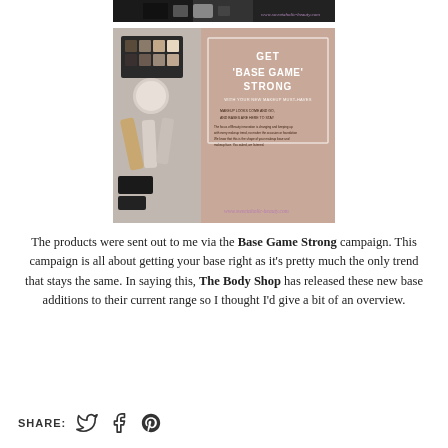[Figure (photo): Top cropped photo of makeup products on a flat lay, with watermark www.sweetaholic-beauty.com]
[Figure (photo): Photo of makeup products beside a peach/salmon colored card reading GET 'BASE GAME' STRONG with your new makeup must-haves, with watermark www.sweetaholic-beauty.com]
The products were sent out to me via the Base Game Strong campaign. This campaign is all about getting your base right as it's pretty much the only trend that stays the same. In saying this, The Body Shop has released these new base additions to their current range so I thought I'd give a bit of an overview.
SHARE: